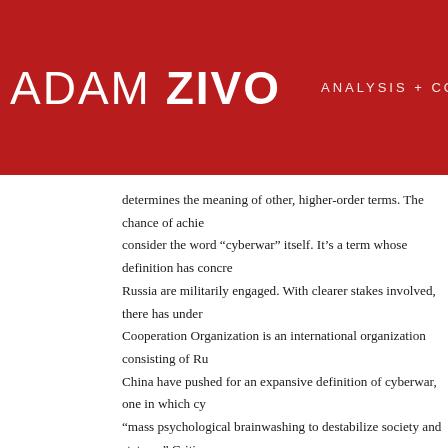ADAM ZIVO   ANALYSIS + CONTENT + ACT
determines the meaning of other, higher-order terms. The chance of achie consider the word “cyberwar” itself. It’s a term whose definition has concre Russia are militarily engaged. With clearer stakes involved, there has under Cooperation Organization is an international organization consisting of Ru China have pushed for an expansive definition of cyberwar, one in which cy “mass psychological brainwashing to destabilize society and state….” Critic speech, and that accepting it would be a concession to authoritarianism. As against it would be considered a military attack, which in this context can b definition of “cyberwar”. However, we also all saw what happened during th be unwise for their governments to adopt a definition that excludes inform provide less effective tools against Russian election meddling or similar ag key term becomes a question of geopolitical calculation. This is but one ex